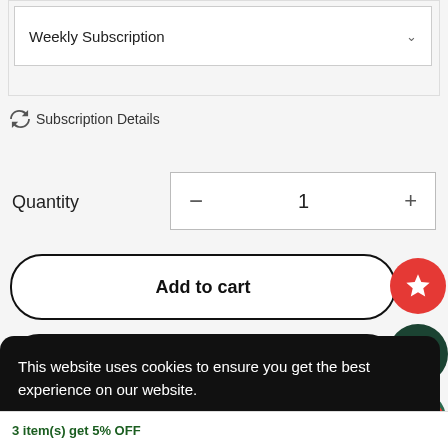Weekly Subscription
Subscription Details
Quantity
1
Add to cart
This website uses cookies to ensure you get the best experience on our website.
Learn more
Decline
Allow Cookies
3 item(s) get 5% OFF